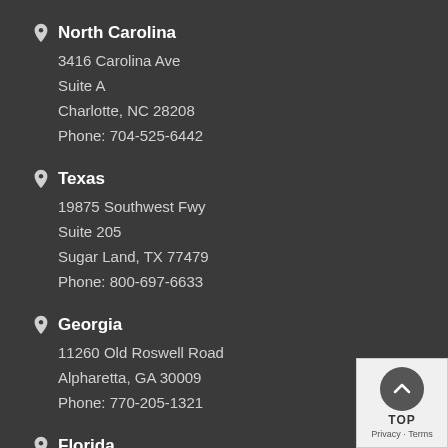North Carolina
3416 Carolina Ave
Suite A
Charlotte, NC 28208
Phone: 704-525-6442
Texas
19875 Southwest Fwy
Suite 205
Sugar Land, TX 77479
Phone: 800-697-6633
Georgia
11260 Old Roswell Road
Alpharetta, GA 30009
Phone: 770-205-1321
Florida
4300 St Johns Pkwy
Sanford, FL 32771
Phone: 407-548-6733